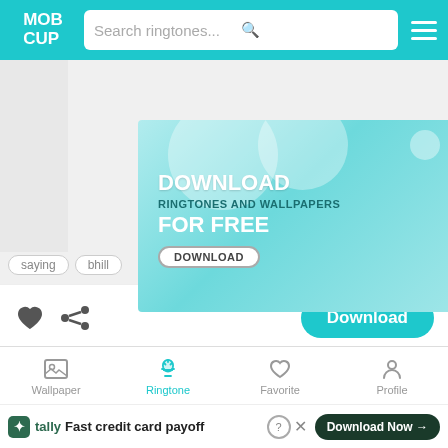MOB CUP – Search ringtones...
[Figure (screenshot): MobCup app advertisement banner: DOWNLOAD RINGTONES AND WALLPAPERS FOR FREE with a DOWNLOAD button, teal background with white bubble shapes and MobCup logo]
saying  bhill
[Figure (other): Heart icon and share icon buttons]
Download
[Figure (other): Teal play button circle]
Skizzo Skil- Crima 2
3  Downloads
Wallpaper  Ringtone  Favorite  Profile
[Figure (screenshot): Tally ad banner: Fast credit card payoff – Download Now button]